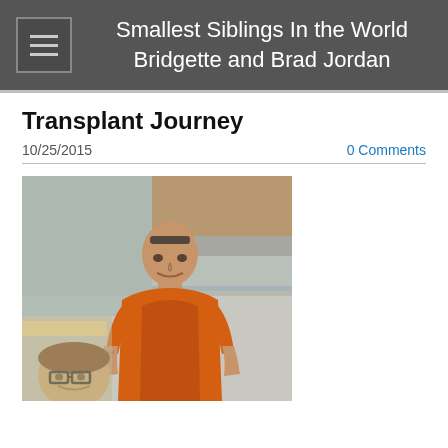Smallest Siblings In the World Bridgette and Brad Jordan
Transplant Journey
10/25/2015
0 Comments
[Figure (photo): Two people posing for a photo indoors. A taller man wearing an orange sleeveless shirt with sunglasses on his head, and a shorter person wearing glasses visible at the bottom left corner.]